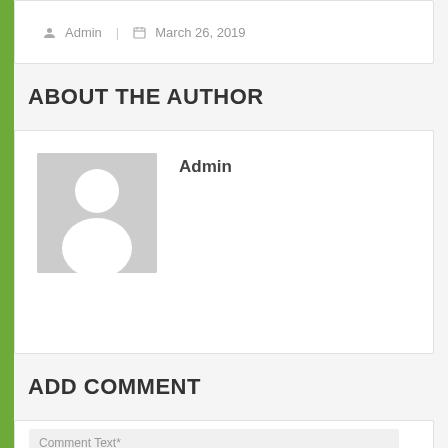Admin   March 26, 2019
ABOUT THE AUTHOR
[Figure (illustration): Generic user avatar placeholder image with grey background and white silhouette of a person]
Admin
ADD COMMENT
Comment Text*